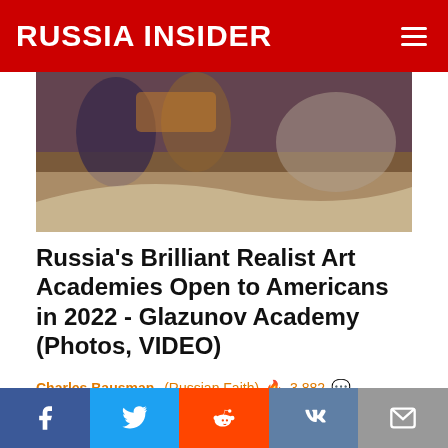RUSSIA INSIDER
[Figure (photo): Top portion of a realist painting showing figures in historical/religious scene with warm orange and muted tones]
Russia's Brilliant Realist Art Academies Open to Americans in 2022 - Glazunov Academy (Photos, VIDEO)
Charles Bausman  (Russian Faith)  🔥 3,882  💬 Comments
[Figure (photo): Man in suit speaking in front of a Moscow city skyline at sunset/dusk with skyscrapers and city lights]
[Figure (infographic): Social share bar with Facebook, Twitter, Reddit, VK, and Email buttons]